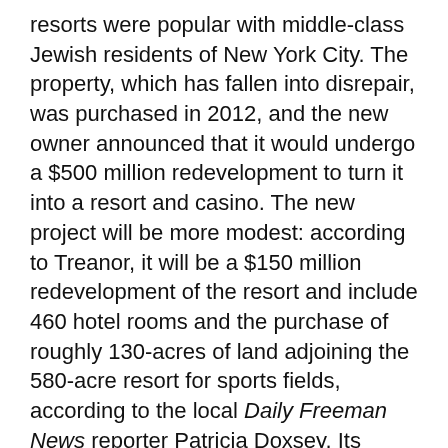resorts were popular with middle-class Jewish residents of New York City. The property, which has fallen into disrepair, was purchased in 2012, and the new owner announced that it would undergo a $500 million redevelopment to turn it into a resort and casino. The new project will be more modest: according to Treanor, it will be a $150 million redevelopment of the resort and include 460 hotel rooms and the purchase of roughly 130-acres of land adjoining the 580-acre resort for sports fields, according to the local Daily Freeman News reporter Patricia Doxsey. Its location could take
By clicking "Continue" or continuing to use our site, you acknowledge that you accept our Privacy Policy and Terms of Use. We also use cookies to provide you with the best possible experience on our website. Feel free to check out our policies anytime for more information.
Continue